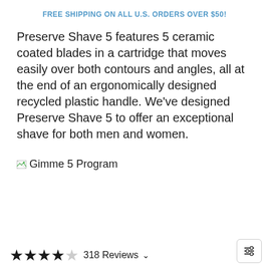FREE SHIPPING ON ALL U.S. ORDERS OVER $50!
Preserve Shave 5 features 5 ceramic coated blades in a cartridge that moves easily over both contours and angles, all at the end of an ergonomically designed recycled plastic handle. We've designed Preserve Shave 5 to offer an exceptional shave for both men and women.
[Figure (other): Broken image placeholder with alt text 'Gimme 5 Program']
★★★★☆ 318 Reviews ∨